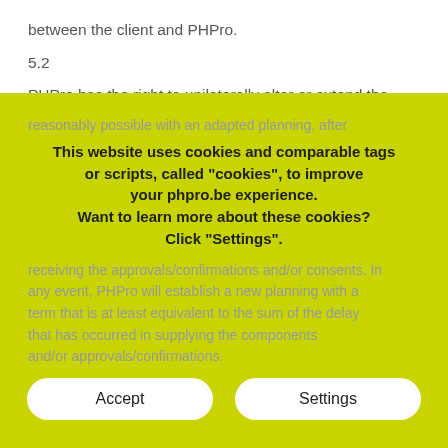between the client and PHPro.
5.2
PHPro has the right to unilaterally alter or extend the defined deadlines, or to postpone them, in case the client does not provide PHPro in time with the components that it requires for completion of its task, and/or if the client does not provide in time the approvals/confirmations that PHPro might require from the client in order to execute the assignment. In such case, PHPro will provide the client as soon as is reasonably possible with an adapted planning, after receiving the approvals/confirmations and/or consents. In any event, PHPro will establish a new planning with a term that is at least equivalent to the sum of the delay that has occurred in supplying the components and/or approvals/confirmations.
This website uses cookies and comparable tags or scripts, called "cookies", to improve your phpro.be experience. Want to learn more about these cookies? Click "Settings".